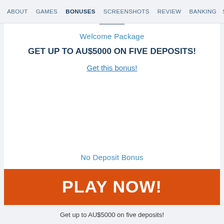ABOUT   GAMES   BONUSES   SCREENSHOTS   REVIEW   BANKING   SUPPORT
Welcome Package
GET UP TO AU$5000 ON FIVE DEPOSITS!
Get this bonus!
No Deposit Bonus
PLAY NOW!
Get up to AU$5000 on five deposits!